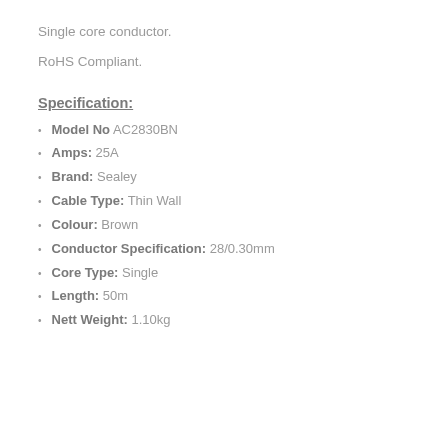Single core conductor.
RoHS Compliant.
Specification:
Model No AC2830BN
Amps: 25A
Brand: Sealey
Cable Type: Thin Wall
Colour: Brown
Conductor Specification: 28/0.30mm
Core Type: Single
Length: 50m
Nett Weight: 1.10kg